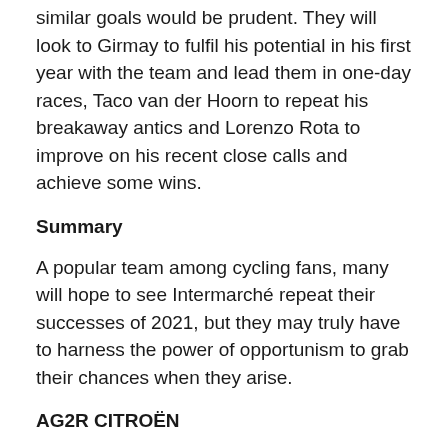similar goals would be prudent. They will look to Girmay to fulfil his potential in his first year with the team and lead them in one-day races, Taco van der Hoorn to repeat his breakaway antics and Lorenzo Rota to improve on his recent close calls and achieve some wins.
Summary
A popular team among cycling fans, many will hope to see Intermarché repeat their successes of 2021, but they may truly have to harness the power of opportunism to grab their chances when they arise.
AG2R CITROËN
The first French team to feature in the preview, AG2R were also the most successful of the French World Tour